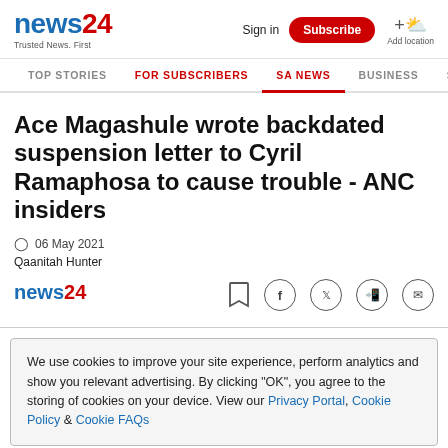news24 | Trusted News. First | Sign in | Subscribe | Add location
TOP STORIES | FOR SUBSCRIBERS | SA NEWS | BUSINESS | SP
Ace Magashule wrote backdated suspension letter to Cyril Ramaphosa to cause trouble - ANC insiders
06 May 2021
Qaanitah Hunter
We use cookies to improve your site experience, perform analytics and show you relevant advertising. By clicking "OK", you agree to the storing of cookies on your device. View our Privacy Portal, Cookie Policy & Cookie FAQs